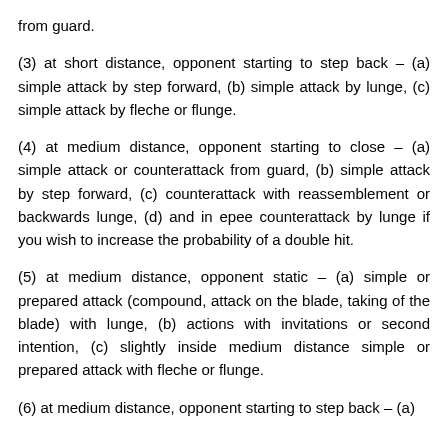from guard.
(3) at short distance, opponent starting to step back – (a) simple attack by step forward, (b) simple attack by lunge, (c) simple attack by fleche or flunge.
(4) at medium distance, opponent starting to close – (a) simple attack or counterattack from guard, (b) simple attack by step forward, (c) counterattack with reassemblement or backwards lunge, (d) and in epee counterattack by lunge if you wish to increase the probability of a double hit.
(5) at medium distance, opponent static – (a) simple or prepared attack (compound, attack on the blade, taking of the blade) with lunge, (b) actions with invitations or second intention, (c) slightly inside medium distance simple or prepared attack with fleche or flunge.
(6) at medium distance, opponent starting to step back – (a)